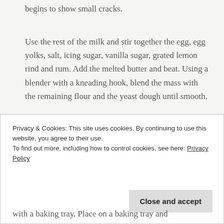begins to show small cracks.
Use the rest of the milk and stir together the egg, egg yolks, salt, icing sugar, vanilla sugar, grated lemon rind and rum. Add the melted butter and beat. Using a blender with a kneading hook, blend the mass with the remaining flour and the yeast dough until smooth.
Cover with a cloth and leave to rise at room
Privacy & Cookies: This site uses cookies. By continuing to use this website, you agree to their use.
To find out more, including how to control cookies, see here: Privacy Policy
with a baking tray. Place on a baking tray and